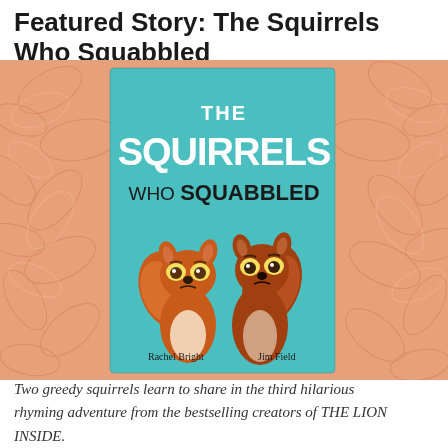Featured Story: The Squirrels Who Squabbled
[Figure (illustration): Book cover of 'The Squirrels Who Squabbled' by Rachel Bright and Jim Field, showing two grumpy-looking cartoon squirrels standing side by side against a teal background, surrounded by an autumn leaf pattern border. The book title is written in large white and black text.]
Two greedy squirrels learn to share in the third hilarious rhyming adventure from the bestselling creators of THE LION INSIDE.